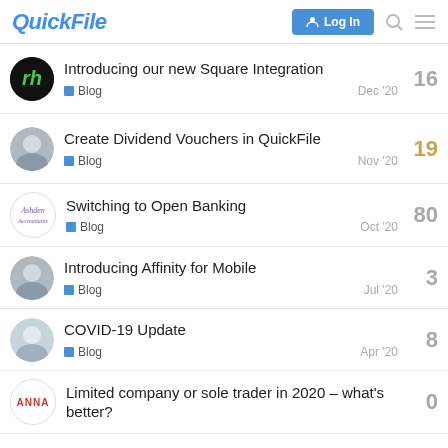QuickFile — Log In
Introducing our new Square Integration | Blog | Dec '20 | 16
Create Dividend Vouchers in QuickFile | Blog | Nov '20 | 19
Switching to Open Banking | Blog | Oct '20 | 80
Introducing Affinity for Mobile | Blog | Jul '20 | 3
COVID-19 Update | Blog | Apr '20 | 8
Limited company or sole trader in 2020 – what's better? | 0